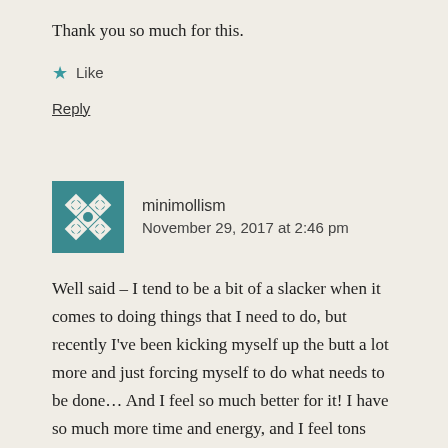Thank you so much for this.
★ Like
Reply
[Figure (illustration): Avatar icon for user minimollism: a teal/green square with a geometric diamond and snowflake pattern in off-white]
minimollism
November 29, 2017 at 2:46 pm
Well said – I tend to be a bit of a slacker when it comes to doing things that I need to do, but recently I've been kicking myself up the butt a lot more and just forcing myself to do what needs to be done… And I feel so much better for it! I have so much more time and energy, and I feel tons more fulfilled even for accomplishing